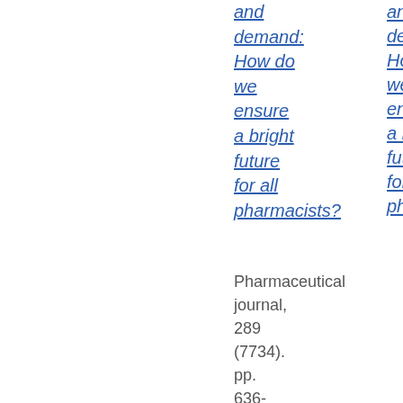and demand: How do we ensure a bright future for all pharmacists?
Pharmaceutical journal, 289 (7734). pp. 636-637. ISSN 0031-6873
Airley,